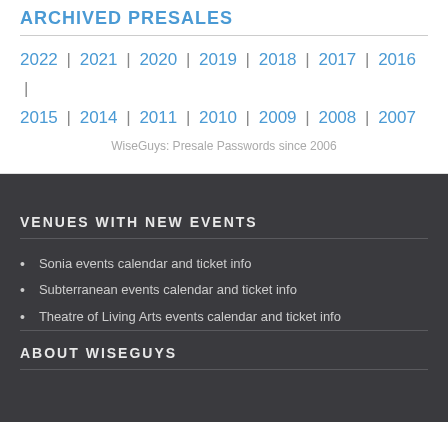ARCHIVED PRESALES
2022 | 2021 | 2020 | 2019 | 2018 | 2017 | 2016 | 2015 | 2014 | 2011 | 2010 | 2009 | 2008 | 2007
WiseGuys: Presale Passwords since 2006
VENUES WITH NEW EVENTS
Sonia events calendar and ticket info
Subterranean events calendar and ticket info
Theatre of Living Arts events calendar and ticket info
ABOUT WISEGUYS